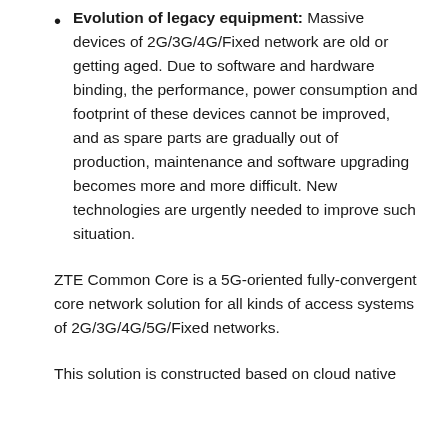Evolution of legacy equipment: Massive devices of 2G/3G/4G/Fixed network are old or getting aged. Due to software and hardware binding, the performance, power consumption and footprint of these devices cannot be improved, and as spare parts are gradually out of production, maintenance and software upgrading becomes more and more difficult. New technologies are urgently needed to improve such situation.
ZTE Common Core is a 5G-oriented fully-convergent core network solution for all kinds of access systems of 2G/3G/4G/5G/Fixed networks.
This solution is constructed based on cloud native